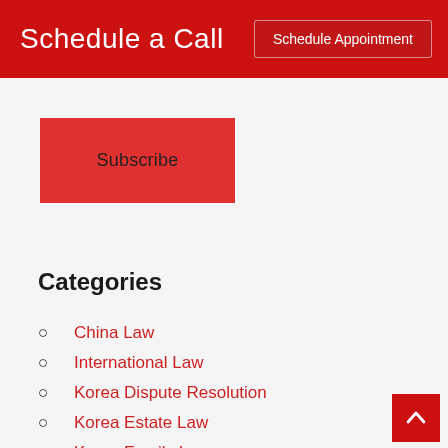Schedule a Call
Schedule Appointment
Subscribe
Categories
China Law
International Law
Korea Dispute Resolution
Korea Estate Law
Korea Family Law
Korea Maritime Law
Korean Adoption
Korean Antitrust Law